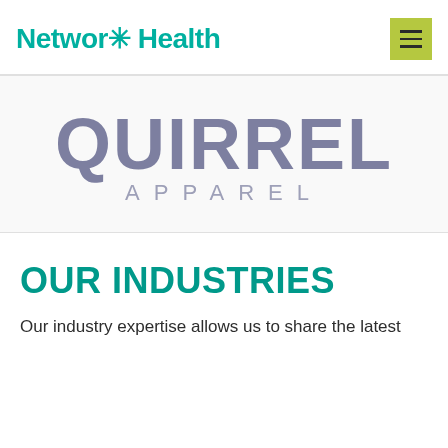Networx Health
[Figure (logo): Quirrel Apparel logo — large stylized text 'QUIRREL' in purple-grey with 'APPAREL' in spaced caps below]
OUR INDUSTRIES
Our industry expertise allows us to share the latest